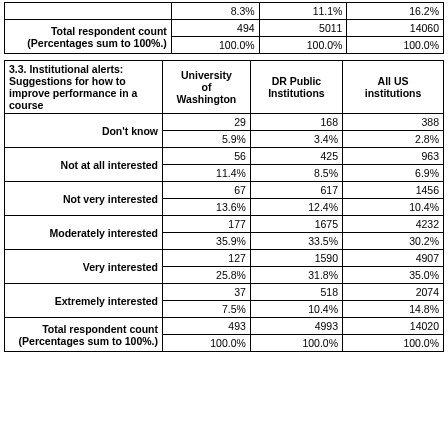|  | University of Washington | DR Public Institutions | All US institutions |
| --- | --- | --- | --- |
|  | 8.3% | 11.1% | 16.2% |
| Total respondent count (Percentages sum to 100.) | 494 | 5011 | 14060 |
|  | 100.0% | 100.0% | 100.0% |
| 3.3. Institutional alerts: Suggestions for how to improve performance in a course | University of Washington | DR Public Institutions | All US institutions |
| --- | --- | --- | --- |
| Don't know | 29 | 168 | 388 |
|  | 5.9% | 3.4% | 2.8% |
| Not at all interested | 56 | 425 | 963 |
|  | 11.4% | 8.5% | 6.9% |
| Not very interested | 67 | 617 | 1456 |
|  | 13.6% | 12.4% | 10.4% |
| Moderately interested | 177 | 1675 | 4232 |
|  | 35.9% | 33.5% | 30.2% |
| Very interested | 127 | 1590 | 4907 |
|  | 25.8% | 31.8% | 35.0% |
| Extremely interested | 37 | 518 | 2074 |
|  | 7.5% | 10.4% | 14.8% |
| Total respondent count (Percentages sum to 100.) | 493 | 4993 | 14020 |
|  | 100.0% | 100.0% | 100.0% |